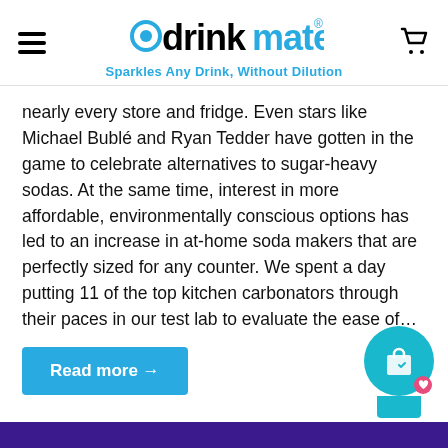drinkmate® — Sparkles Any Drink, Without Dilution
nearly every store and fridge. Even stars like Michael Bublé and Ryan Tedder have gotten in the game to celebrate alternatives to sugar-heavy sodas. At the same time, interest in more affordable, environmentally conscious options has led to an increase in at-home soda makers that are perfectly sized for any counter. We spent a day putting 11 of the top kitchen carbonators through their paces in our test lab to evaluate the ease of…
Read more →